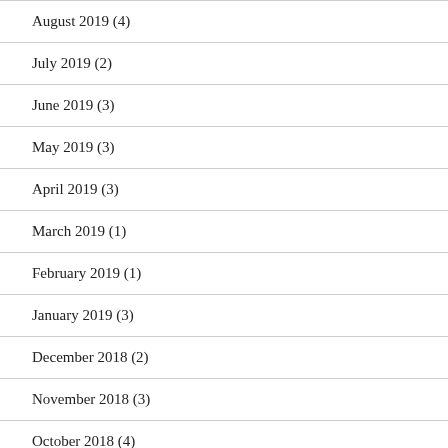August 2019 (4)
July 2019 (2)
June 2019 (3)
May 2019 (3)
April 2019 (3)
March 2019 (1)
February 2019 (1)
January 2019 (3)
December 2018 (2)
November 2018 (3)
October 2018 (4)